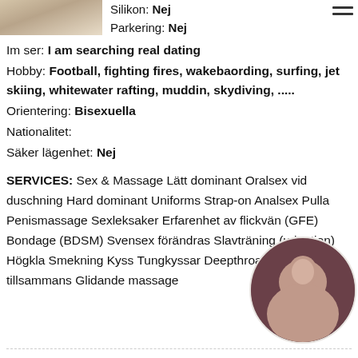[Figure (photo): Partial photo of blonde person at top left]
Silikon: Nej
Parkering: Nej
[Figure (other): Hamburger menu icon (three horizontal lines)]
Im ser: I am searching real dating
Hobby: Football, fighting fires, wakebaording, surfing, jet skiing, whitewater rafting, muddin, skydiving, .....
Orientering: Bisexuella
Nationalitet:
Säker lägenhet: Nej
SERVICES: Sex & Massage Lätt dominant Oralsex vid duschning Hard dominant Uniforms Strap-on Analsex Pulla Penismassage Sexleksaker Erfarenhet av flickvän (GFE) Bondage (BDSM) Svensex förändras Slavträning (urination) Högkla Smekning Kyss Tungkyssar Deepthroat Duscha tillsammans Glidande massage
[Figure (photo): Circular photo of dark-haired woman at bottom right]